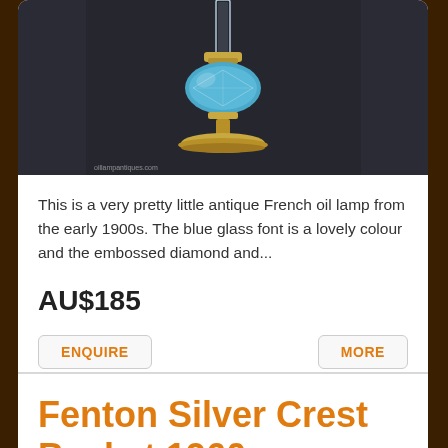[Figure (photo): Antique French oil lamp with blue glass font and brass base, photographed against a dark background. Watermark reads oillampantiques.com]
This is a very pretty little antique French oil lamp from the early 1900s. The blue glass font is a lovely colour and the embossed diamond and...
AU$185
ENQUIRE
MORE
Fenton Silver Crest Basket 1960s